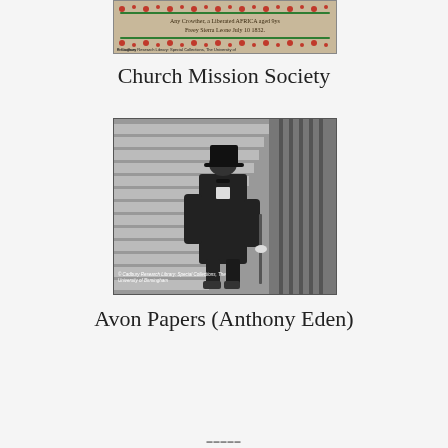[Figure (photo): A cross-stitch or embroidery sampler with decorative floral border. Text reads: 'Any Crowther, a Liberated AFRICA, aged 9 ys / Freey Sierra Leone July 10 1832' with copyright notice from Cadbury Research Library, Special Collections, The University of Birmingham.]
Church Mission Society
[Figure (photo): Black and white photograph of a man in a top hat and long dark coat walking down stairs. Copyright notice reads: © Cadbury Research Library: Special Collections, The University of Birmingham.]
Avon Papers (Anthony Eden)